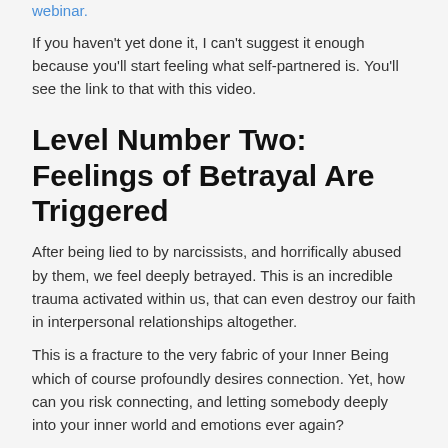webinar.
If you haven’t yet done it, I can’t suggest it enough because you’ll start feeling what self-partnered is. You’ll see the link to that with this video.
Level Number Two: Feelings of Betrayal Are Triggered
After being lied to by narcissists, and horrifically abused by them, we feel deeply betrayed. This is an incredible trauma activated within us, that can even destroy our faith in interpersonal relationships altogether.
This is a fracture to the very fabric of your Inner Being which of course profoundly desires connection. Yet, how can you risk connecting, and letting somebody deeply into your inner world and emotions ever again?
...